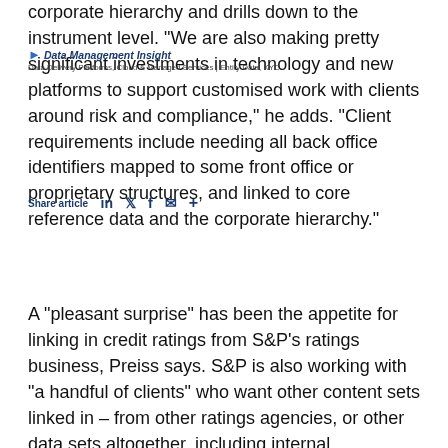Data Management Insight | Data Delivery Platforms, Cloud & Managed Services | Entity Data, KYC
corporate hierarchy and drills down to the instrument level. "We are also making pretty significant investments in technology and new platforms to support customised work with clients around risk and compliance," he adds. "Client requirements include needing all back office identifiers mapped to some front office or proprietary structures, and linked to core reference data and the corporate hierarchy."
A “pleasant surprise” has been the appetite for linking in credit ratings from S&P’s ratings business, Preiss says. S&P is also working with “a handful of clients” who want other content sets linked in – from other ratings agencies, or other data sets altogether, including internal proprietary structures.